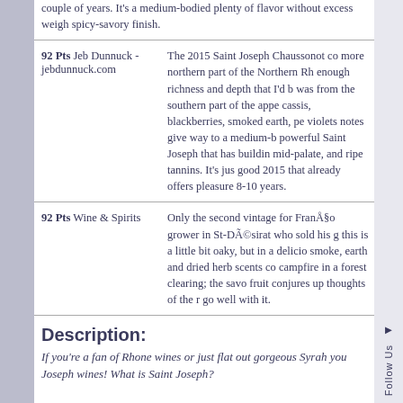couple of years. It's a medium-bodied plenty of flavor without excess weigh spicy-savory finish.
92 Pts Jeb Dunnuck - jebdunnuck.com | The 2015 Saint Joseph Chaussonot co more northern part of the Northern Rh enough richness and depth that I'd b was from the southern part of the app cassis, blackberries, smoked earth, pe violets notes give way to a medium-b powerful Saint Joseph that has buildin mid-palate, and ripe tannins. It's jus good 2015 that already offers pleasure 8-10 years.
92 Pts Wine & Spirits | Only the second vintage for François grower in St-Désirat who sold his g this is a little bit oaky, but in a delicio smoke, earth and dried herb scents co campfire in a forest clearing; the savo fruit conjures up thoughts of the r go well with it.
Description:
If you're a fan of Rhone wines or just flat out gorgeous Syrah you Joseph wines! What is Saint Joseph?